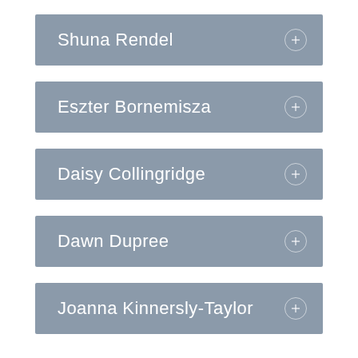Shuna Rendel
Eszter Bornemisza
Daisy Collingridge
Dawn Dupree
Joanna Kinnersly-Taylor